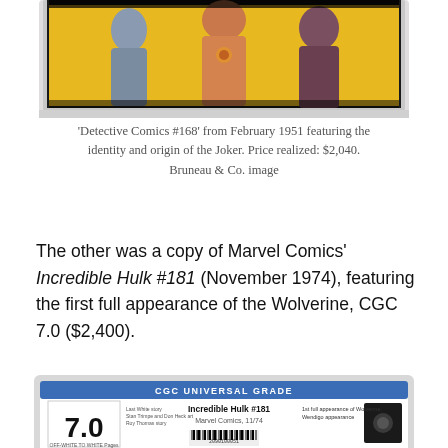[Figure (photo): Top portion of a CGC-graded comic book slab showing colorful comic art with figures against a yellow background, partially cropped.]
'Detective Comics #168' from February 1951 featuring the identity and origin of the Joker. Price realized: $2,040. Bruneau & Co. image
The other was a copy of Marvel Comics' Incredible Hulk #181 (November 1974), featuring the first full appearance of the Wolverine, CGC 7.0 ($2,400).
[Figure (photo): CGC Universal Grade label for Incredible Hulk #181, Marvel Comics 11/74, showing grade 7.0 in a plastic slab.]